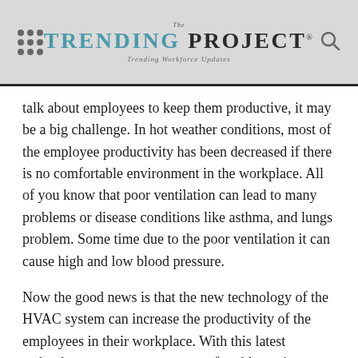The TRENDING PROJECT — Trending Workforce Updates
talk about employees to keep them productive, it may be a big challenge. In hot weather conditions, most of the employee productivity has been decreased if there is no comfortable environment in the workplace. All of you know that poor ventilation can lead to many problems or disease conditions like asthma, and lungs problem. Some time due to the poor ventilation it can cause high and low blood pressure.
Now the good news is that the new technology of the HVAC system can increase the productivity of the employees in their workplace. With this latest technology, you can create a comfortable environment for them. It means that if you install this latest system you can improve the productivity of the office as well as of the employees too. I think like an employer this a good appliance for the business also